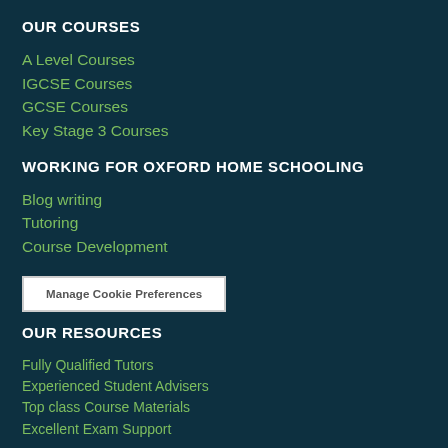OUR COURSES
A Level Courses
IGCSE Courses
GCSE Courses
Key Stage 3 Courses
WORKING FOR OXFORD HOME SCHOOLING
Blog writing
Tutoring
Course Development
Manage Cookie Preferences
OUR RESOURCES
Fully Qualified Tutors
Experienced Student Advisers
Top class Course Materials
Excellent Exam Support